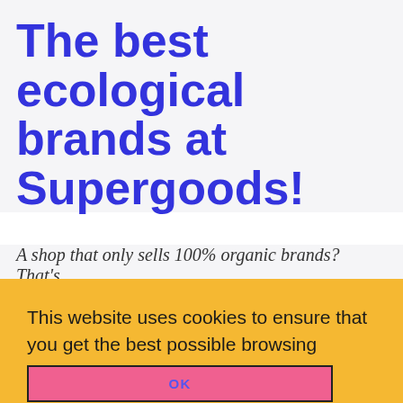The best ecological brands at Supergoods!
A shop that only sells 100% organic brands? That's
This website uses cookies to ensure that you get the best possible browsing experience on our website.  More info
OK